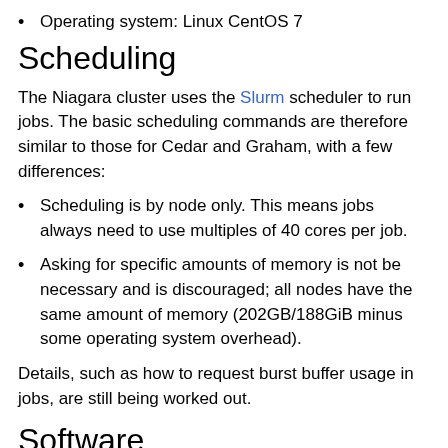Operating system: Linux CentOS 7
Scheduling
The Niagara cluster uses the Slurm scheduler to run jobs. The basic scheduling commands are therefore similar to those for Cedar and Graham, with a few differences:
Scheduling is by node only. This means jobs always need to use multiples of 40 cores per job.
Asking for specific amounts of memory is not be necessary and is discouraged; all nodes have the same amount of memory (202GB/188GiB minus some operating system overhead).
Details, such as how to request burst buffer usage in jobs, are still being worked out.
Software